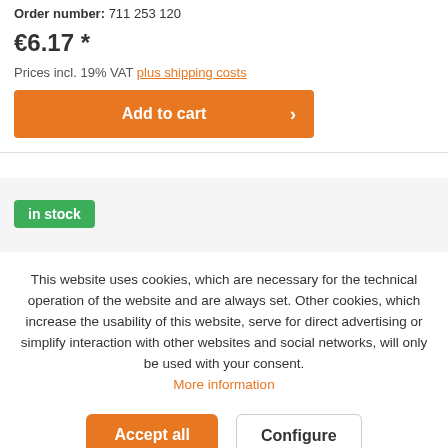Order number: 711 253 120
€6.17 *
Prices incl. 19% VAT plus shipping costs
Add to cart
in stock
This website uses cookies, which are necessary for the technical operation of the website and are always set. Other cookies, which increase the usability of this website, serve for direct advertising or simplify interaction with other websites and social networks, will only be used with your consent. More information
Accept all
Configure